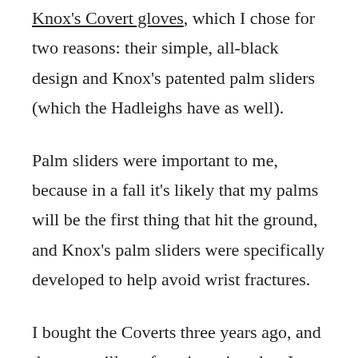Knox's Covert gloves, which I chose for two reasons: their simple, all-black design and Knox's patented palm sliders (which the Hadleighs have as well).
Palm sliders were important to me, because in a fall it's likely that my palms will be the first thing that hit the ground, and Knox's palm sliders were specifically developed to help avoid wrist fractures.
I bought the Coverts three years ago, and they are still my favorite pair today. I wasn't even thinking of shopping for anything new, but a year ago Knox...